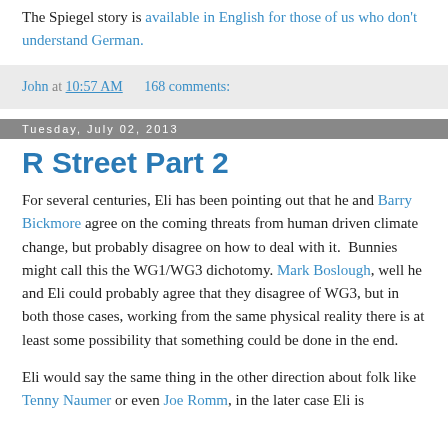The Spiegel story is available in English for those of us who don't understand German.
John at 10:57 AM    168 comments:
Tuesday, July 02, 2013
R Street Part 2
For several centuries, Eli has been pointing out that he and Barry Bickmore agree on the coming threats from human driven climate change, but probably disagree on how to deal with it.  Bunnies might call this the WG1/WG3 dichotomy. Mark Boslough, well he and Eli could probably agree that they disagree of WG3, but in both those cases, working from the same physical reality there is at least some possibility that something could be done in the end.
Eli would say the same thing in the other direction about folk like Tenny Naumer or even Joe Romm, in the later case Eli is